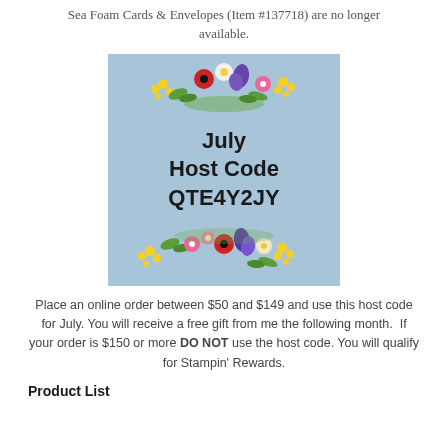Sea Foam Cards & Envelopes (Item #137718) are no longer available.
[Figure (illustration): Blue square banner with floral decorations top and bottom showing 'July Host Code QTE4Y2JY' text in bold]
Place an online order between $50 and $149 and use this host code for July. You will receive a free gift from me the following month. If your order is $150 or more DO NOT use the host code. You will qualify for Stampin' Rewards.
Product List